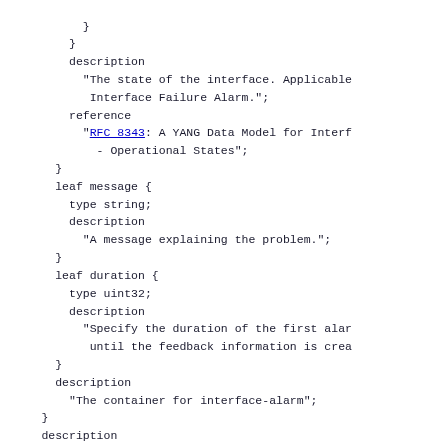YANG data model code snippet showing leaf definitions for interface-alarm container including description, reference to RFC 8343, leaf message, leaf duration, and leaf-list solution